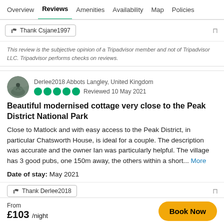Overview | Reviews | Amenities | Availability | Map | Policies
Thank Csjane1997
This review is the subjective opinion of a Tripadvisor member and not of Tripadvisor LLC. Tripadvisor performs checks on reviews.
Derlee2018 Abbots Langley, United Kingdom
●●●●◐ Reviewed 10 May 2021
Beautiful modernised cottage very close to the Peak District National Park
Close to Matlock and with easy access to the Peak District, in particular Chatsworth House, is ideal for a couple. The description was accurate and the owner Ian was particularly helpful. The village has 3 good pubs, one 150m away, the others within a short... More
Date of stay: May 2021
Thank Derlee2018
From £103 /night  Book Now